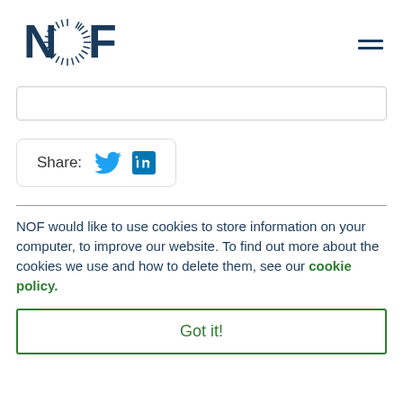[Figure (logo): NOF logo with circular sunburst graphic and dark blue NOF text]
Share:
NOF would like to use cookies to store information on your computer, to improve our website. To find out more about the cookies we use and how to delete them, see our cookie policy.
Got it!